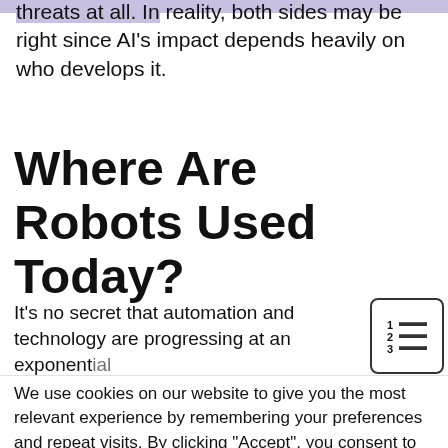threats at all. In reality, both sides may be right since AI’s impact depends heavily on who develops it.
Where Are Robots Used Today?
It’s no secret that automation and technology are progressing at an exponential rate, and new innovations in artificial
[Figure (other): Table of contents icon showing numbered list lines inside a rounded rectangle border]
We use cookies on our website to give you the most relevant experience by remembering your preferences and repeat visits. By clicking “Accept”, you consent to the use of ALL the cookies.
Do not sell my personal information.
[Figure (other): Petco advertisement banner showing logo and text: Your Pet’s Summer Gear Is Here, Petco, with directional arrow icon]